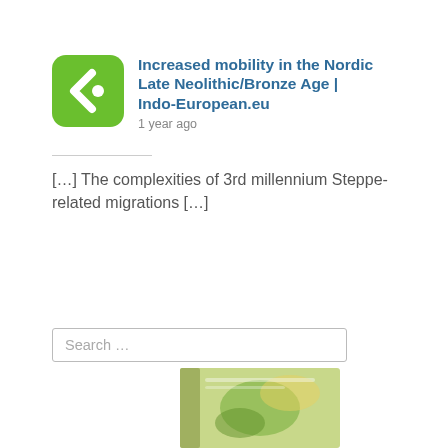[Figure (logo): Green rounded square logo with a white left-pointing arrow/chevron and a white circle dot (Kudos or similar aggregator logo)]
Increased mobility in the Nordic Late Neolithic/Bronze Age | Indo-European.eu
1 year ago
[…] The complexities of 3rd millennium Steppe-related migrations […]
Search …
[Figure (photo): Partial view of a book cover with green and yellow imagery, partially cut off at the bottom of the page]